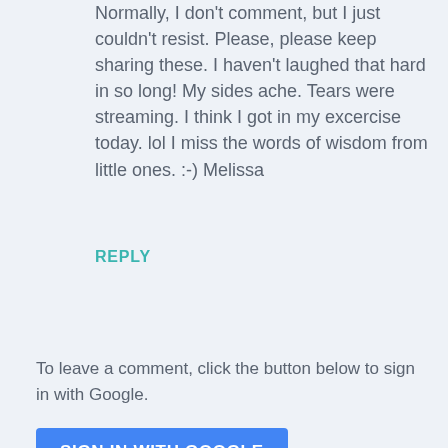Normally, I don't comment, but I just couldn't resist. Please, please keep sharing these. I haven't laughed that hard in so long! My sides ache. Tears were streaming. I think I got in my excercise today. lol I miss the words of wisdom from little ones. :-) Melissa
REPLY
To leave a comment, click the button below to sign in with Google.
[Figure (other): Blue button labeled SIGN IN WITH GOOGLE]